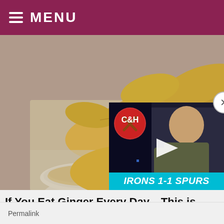MENU
[Figure (photo): Ginger root and ground ginger powder in a white bowl on a wooden cutting board]
[Figure (screenshot): Video overlay showing a bald man, C&H logo, play button, and IRONS 1-1 SPURS banner. Close button (X) in top right corner.]
If You Eat Ginger Every Day... This is What Happens
Tibgez.com
Permalink